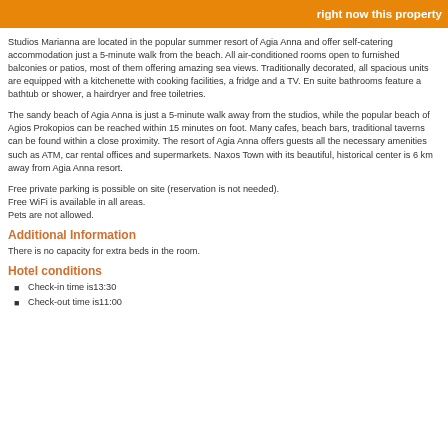right now this property
Studios Marianna are located in the popular summer resort of Agia Anna and offer self-catering accommodation just a 5-minute walk from the beach. All air-conditioned rooms open to furnished balconies or patios, most of them offering amazing sea views. Traditionally decorated, all spacious units are equipped with a kitchenette with cooking facilities, a fridge and a TV. En suite bathrooms feature a bathtub or shower, a hairdryer and free toiletries.
The sandy beach of Agia Anna is just a 5-minute walk away from the studios, while the popular beach of Agios Prokopios can be reached within 15 minutes on foot. Many cafes, beach bars, traditional taverns can be found within a close proximity. The resort of Agia Anna offers guests all the necessary amenities such as ATM, car rental offices and supermarkets. Naxos Town with its beautiful, historical center is 6 km away from Agia Anna resort.
Free private parking is possible on site (reservation is not needed).
Free WiFi is available in all areas.
Pets are not allowed.
Additional Information
There is no capacity for extra beds in the room.
Hotel conditions
Check-in time is13:30
Check-out time is11:00